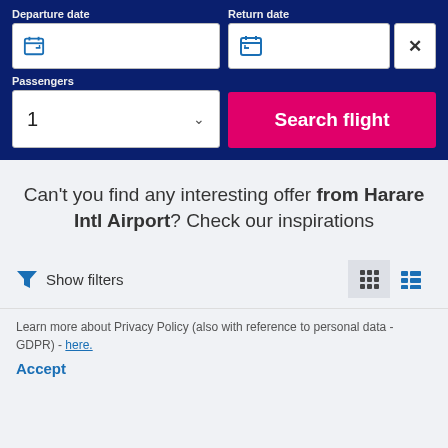Departure date
Return date
Passengers
1
Search flight
Can't you find any interesting offer from Harare Intl Airport? Check our inspirations
Show filters
Learn more about Privacy Policy (also with reference to personal data - GDPR) - here.
Accept